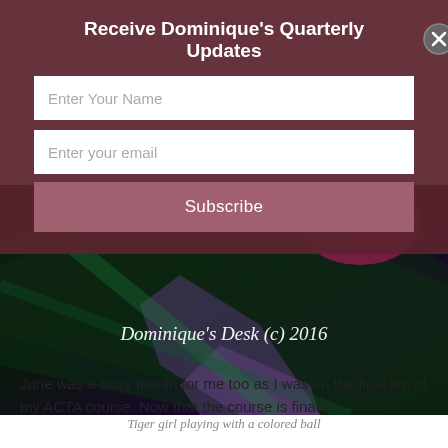Receive Dominique's Quarterly Updates
[Figure (screenshot): Modal form with name input, email input, and subscribe button over a dark maroon background with a close button (X)]
[Figure (photo): Dark artistic photo with colored lighting (green, pink, purple hues) with text overlay reading 'Dominique's Desk (c) 2016']
Tiger girl playing with a colored ball
June was a busy month for me too as I was on the final lap of my ACTA course. Now that the course is finally